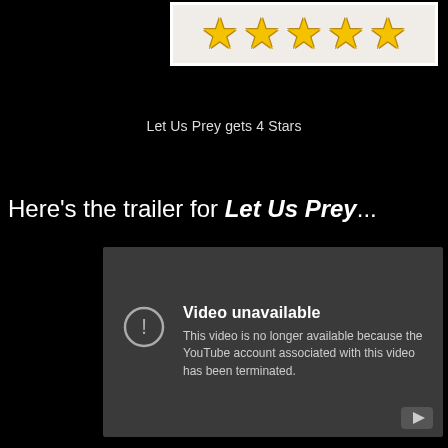[Figure (illustration): Five gold stars in a row inside a white-bordered box with light beige background, indicating a 4-star rating graphic]
Let Us Prey gets 4 Stars
Here's the trailer for Let Us Prey...
[Figure (screenshot): YouTube embedded video player showing 'Video unavailable' error message: 'This video is no longer available because the YouTube account associated with this video has been terminated.' with an exclamation circle icon and YouTube play button in bottom right.]